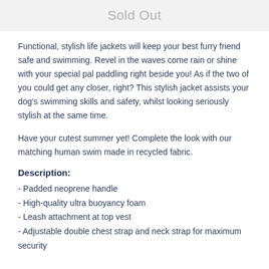Sold Out
Functional, stylish life jackets will keep your best furry friend safe and swimming. Revel in the waves come rain or shine with your special pal paddling right beside you! As if the two of you could get any closer, right? This stylish jacket assists your dog's swimming skills and safety, whilst looking seriously stylish at the same time.
Have your cutest summer yet! Complete the look with our matching human swim made in recycled fabric.
Description:
- Padded neoprene handle
- High-quality ultra buoyancy foam
- Leash attachment at top vest
- Adjustable double chest strap and neck strap for maximum security